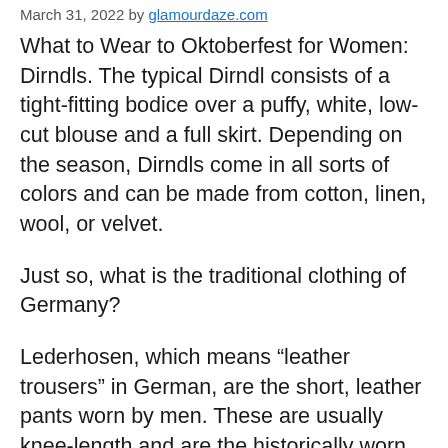March 31, 2022 by glamourdaze.com
What to Wear to Oktoberfest for Women: Dirndls. The typical Dirndl consists of a tight-fitting bodice over a puffy, white, low-cut blouse and a full skirt. Depending on the season, Dirndls come in all sorts of colors and can be made from cotton, linen, wool, or velvet.
Just so, what is the traditional clothing of Germany?
Lederhosen, which means “leather trousers” in German, are the short, leather pants worn by men. These are usually knee-length and are the historically worn by working-class German men. The dirndl is a ruffled apron